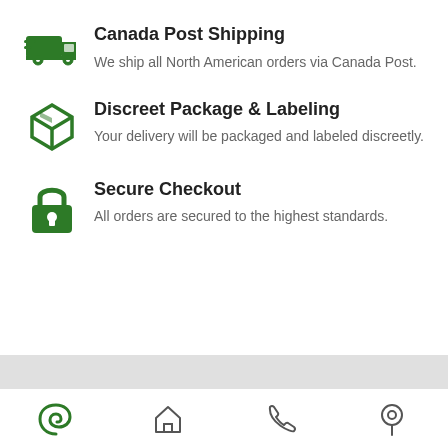Canada Post Shipping
We ship all North American orders via Canada Post.
Discreet Package & Labeling
Your delivery will be packaged and labeled discreetly.
Secure Checkout
All orders are secured to the highest standards.
[Figure (illustration): Bottom navigation bar with four icons: green spiral logo, home, phone, location pin]